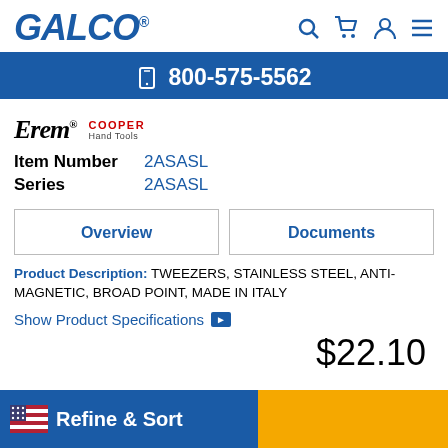GALCO
800-575-5562
[Figure (logo): Erem brand logo with Cooper Hand Tools text]
Item Number 2ASASL
Series 2ASASL
Overview | Documents (tabs)
Product Description: TWEEZERS, STAINLESS STEEL, ANTI-MAGNETIC, BROAD POINT, MADE IN ITALY
Show Product Specifications
$22.10
Refine & Sort